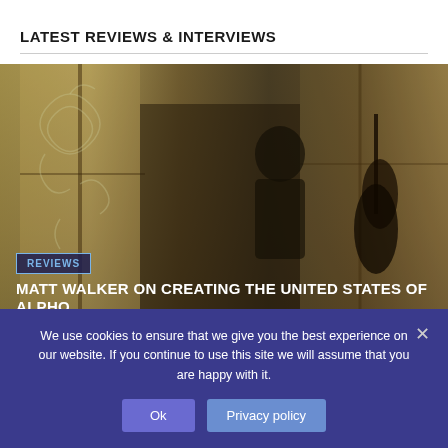LATEST REVIEWS & INTERVIEWS
[Figure (photo): A dark, moody photo of a musician playing a double bass/cello in a room with large windows and warm light filtering through. The scene appears to be indoors with decorative swirl patterns visible on glass or wall in left portion.]
REVIEWS
MATT WALKER ON CREATING THE UNITED STATES OF ALPHO
27 July 2022   Reviews   Lynette Bamford
We use cookies to ensure that we give you the best experience on our website. If you continue to use this site we will assume that you are happy with it.
Ok
Privacy policy